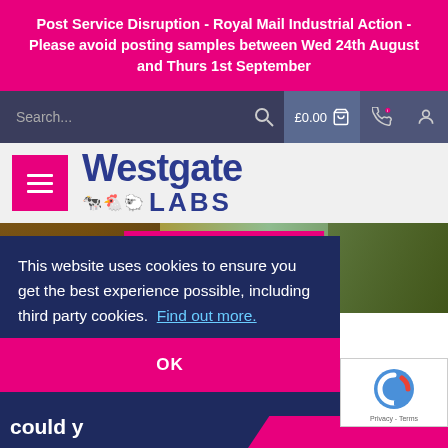Post Service Disruption - Royal Mail Industrial Action - Please avoid posting samples between Wed 24th August and Thurs 1st September
[Figure (screenshot): Website navigation bar with search field, cart showing £0.00, phone icon, and user icon on dark navy background]
[Figure (logo): Westgate Labs logo with animal silhouettes (cow, chicken, sheep) in pink and blue]
[Figure (photo): Hero banner showing horses in a field with text TOP 10 WAYS and TO SLOW RESISTANCE]
This website uses cookies to ensure you get the best experience possible, including third party cookies.  Find out more.
OK